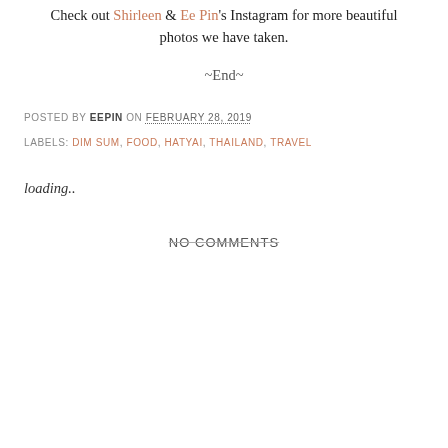Check out Shirleen & Ee Pin's Instagram for more beautiful photos we have taken.
~End~
POSTED BY EEPIN ON FEBRUARY 28, 2019
LABELS: DIM SUM, FOOD, HATYAI, THAILAND, TRAVEL
loading..
NO COMMENTS